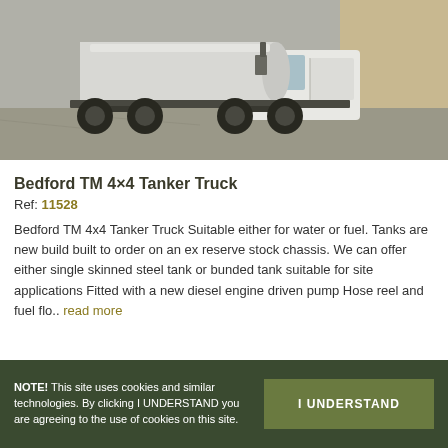[Figure (photo): Bedford TM 4x4 Tanker Truck parked outside a building, showing a white military truck with a large white cylindrical tank on the back]
Bedford TM 4x4 Tanker Truck
Ref: 11528
Bedford TM 4x4 Tanker Truck Suitable either for water or fuel. Tanks are new build built to order on an ex reserve stock chassis. We can offer either single skinned steel tank or bunded tank suitable for site applications Fitted with a new diesel engine driven pump Hose reel and fuel flo.. read more
NOTE! This site uses cookies and similar technologies. By clicking I UNDERSTAND you are agreeing to the use of cookies on this site.